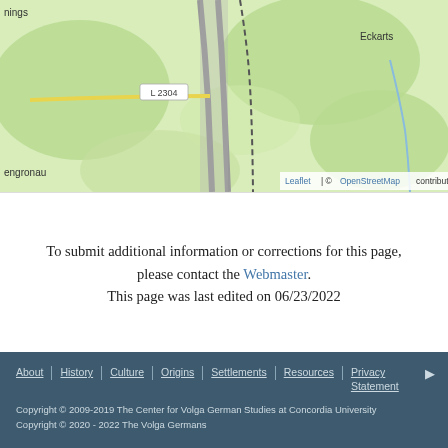[Figure (map): OpenStreetMap partial view showing road L 2304, localities 'ings', 'Eckarts', 'engronau', with green terrain. Attribution: Leaflet | © OpenStreetMap contributors]
To submit additional information or corrections for this page, please contact the Webmaster.
This page was last edited on 06/23/2022
About | History | Culture | Origins | Settlements | Resources | Privacy Statement
Copyright © 2009-2019 The Center for Volga German Studies at Concordia University
Copyright © 2020 - 2022 The Volga Germans